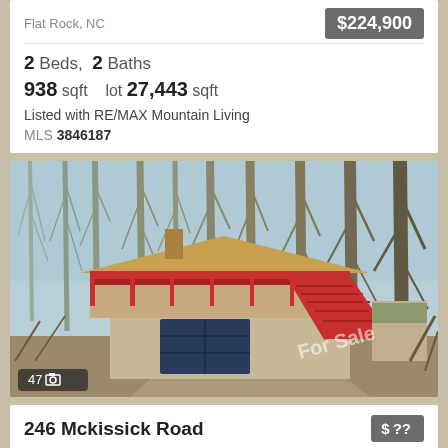Flat Rock, NC
$224,900
2 Beds, 2 Baths
938 sqft   lot 27,443 sqft
Listed with RE/MAX Mountain Living
MLS 3846187
[Figure (photo): Exterior photo of a house with red deck and staircase surrounded by bare winter trees, with a two-car garage. Photo count badge shows 47 photos.]
246 Mckissick Road